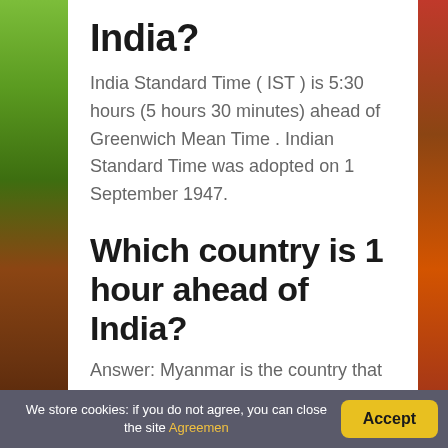India?
India Standard Time ( IST ) is 5:30 hours (5 hours 30 minutes) ahead of Greenwich Mean Time . Indian Standard Time was adopted on 1 September 1947.
Which country is 1 hour ahead of India?
Answer: Myanmar is the country that is one hour ahead of Indian standard time.
We store cookies: if you do not agree, you can close the site Agreemen   Accept